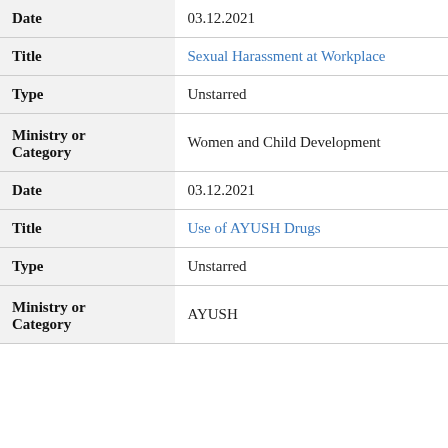| Field | Value |
| --- | --- |
| Date | 03.12.2021 |
| Title | Sexual Harassment at Workplace |
| Type | Unstarred |
| Ministry or Category | Women and Child Development |
| Date | 03.12.2021 |
| Title | Use of AYUSH Drugs |
| Type | Unstarred |
| Ministry or Category | AYUSH |